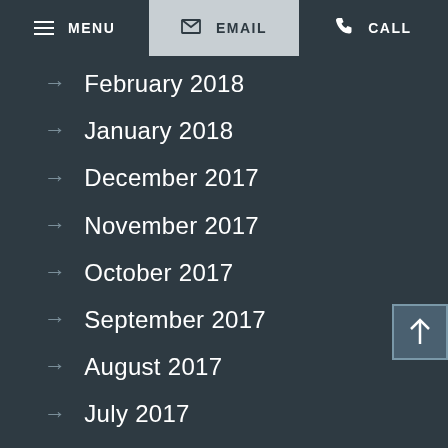MENU  EMAIL  CALL
February 2018
January 2018
December 2017
November 2017
October 2017
September 2017
August 2017
July 2017
June 2017
May 2017